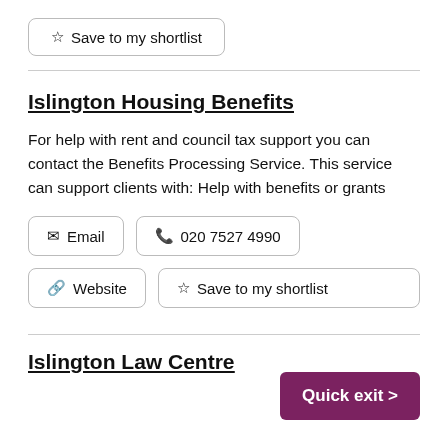☆ Save to my shortlist
Islington Housing Benefits
For help with rent and council tax support you can contact the Benefits Processing Service. This service can support clients with: Help with benefits or grants
✉ Email
📞 020 7527 4990
🔗 Website
☆ Save to my shortlist
Islington Law Centre
Quick exit >